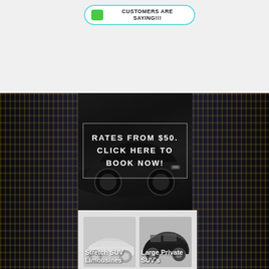[Figure (screenshot): Website screenshot showing a limousine/transportation service page with header button, dark car banner with booking CTA, and vehicle category cards below]
CUSTOMERS ARE SAYING!!!
RATES FROM $50. CLICK HERE TO BOOK NOW!
Stretch SUV Limousines
Large Private SUV's